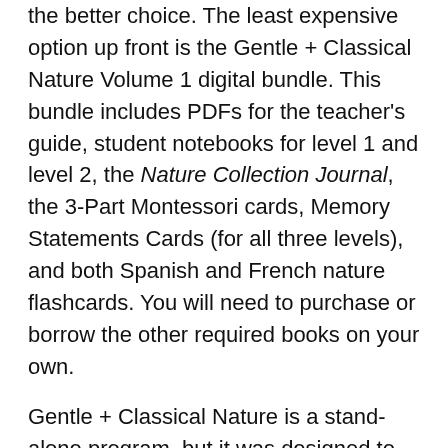the better choice. The least expensive option up front is the Gentle + Classical Nature Volume 1 digital bundle. This bundle includes PDFs for the teacher's guide, student notebooks for level 1 and level 2, the Nature Collection Journal, the 3-Part Montessori cards, Memory Statements Cards (for all three levels), and both Spanish and French nature flashcards. You will need to purchase or borrow the other required books on your own.
Gentle + Classical Nature is a stand-alone program, but it was designed to be used in conjunction with their preschool programs. Of course, this works only for your preschool-level students. The teacher's guide explains how to coordinate the programs. Nature can be used alongside Preschool Level 1 by substituting activities from Nature in place of those already in the lesson plans. It can also serve as the entire science component for Preschool Level 2 which has no built-in science.
Summary